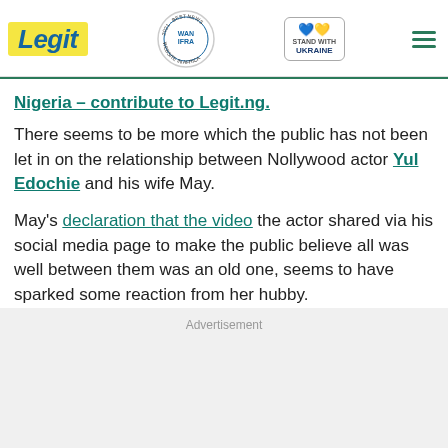Legit | WAN IFRA 2021 Best News Website in Africa | Stand with Ukraine
Nigeria – contribute to Legit.ng.
There seems to be more which the public has not been let in on the relationship between Nollywood actor Yul Edochie and his wife May.
May's declaration that the video the actor shared via his social media page to make the public believe all was well between them was an old one, seems to have sparked some reaction from her hubby.
Advertisement